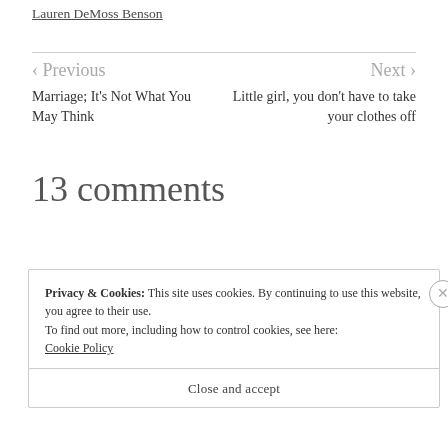Lauren DeMoss Benson
< Previous
Marriage; It's Not What You May Think
Next >
Little girl, you don't have to take your clothes off
13 comments
Privacy & Cookies: This site uses cookies. By continuing to use this website, you agree to their use.
To find out more, including how to control cookies, see here:
Cookie Policy
Close and accept